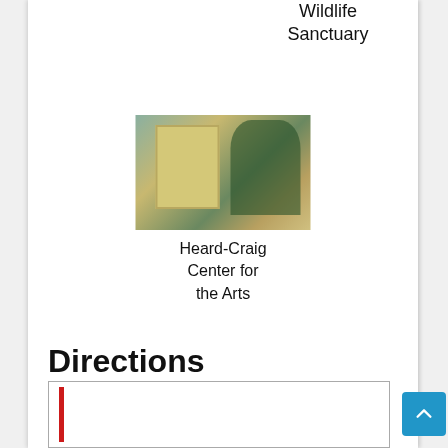Wildlife Sanctuary
[Figure (photo): Photo of a yellow building with large trees, likely a historic house or arts center]
Heard-Craig Center for the Arts
Directions